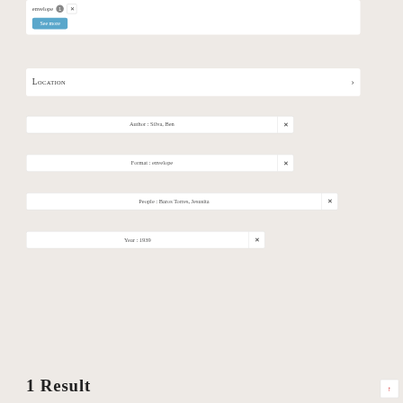envelope
See more
Location
Author : Silva, Ben
Format : envelope
People : Baros Torres, Jesusita
Year : 1939
1 RESULT